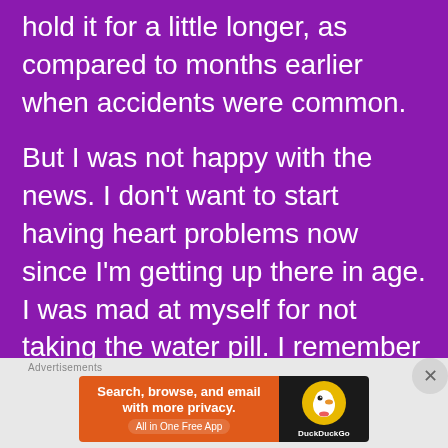hold it for a little longer, as compared to months earlier when accidents were common.
But I was not happy with the news. I don't want to start having heart problems now since I'm getting up there in age. I was mad at myself for not taking the water pill. I remember when I stopped taking my blood pressure pill, and I came thisclose to either dying, or being partially paralysed
[Figure (other): Advertisement banner for DuckDuckGo app: 'Search, browse, and email with more privacy. All in One Free App' with DuckDuckGo logo on dark background.]